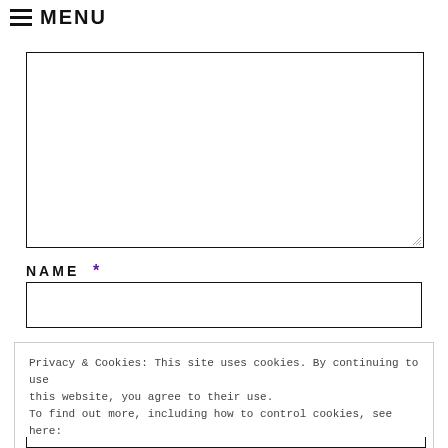≡ MENU
[Figure (screenshot): Empty textarea form field with resize handle]
NAME *
[Figure (screenshot): Empty text input field for Name]
Privacy & Cookies: This site uses cookies. By continuing to use this website, you agree to their use.
To find out more, including how to control cookies, see here:
Privacy Policy

Close and accept